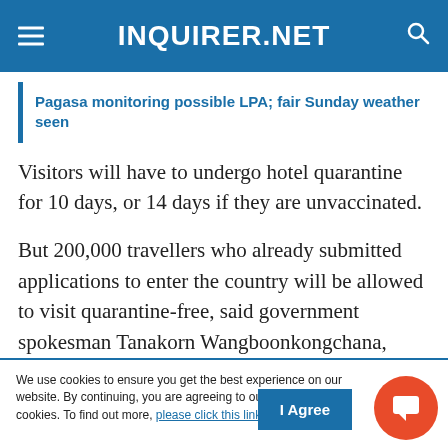INQUIRER.NET
Pagasa monitoring possible LPA; fair Sunday weather seen
Visitors will have to undergo hotel quarantine for 10 days, or 14 days if they are unvaccinated.
But 200,000 travellers who already submitted applications to enter the country will be allowed to visit quarantine-free, said government spokesman Tanakorn Wangboonkongchana, adding that a second PCR test would now be required.
We use cookies to ensure you get the best experience on our website. By continuing, you are agreeing to our use of cookies. To find out more, please click this link.